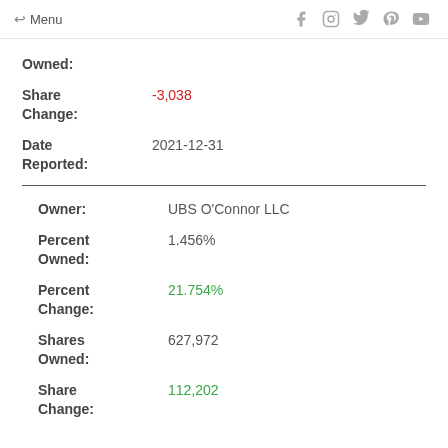← Menu
Owned:
Share Change: -3,038
Date Reported: 2021-12-31
Owner: UBS O'Connor LLC
Percent Owned: 1.456%
Percent Change: 21.754%
Shares Owned: 627,972
Share Change: 112,202